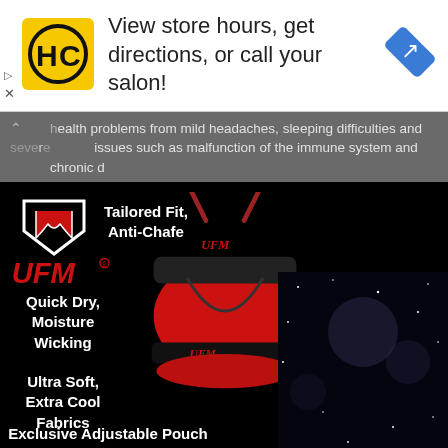[Figure (screenshot): Advertisement banner: HC (Hair Club) logo on yellow square, text 'View store hours, get directions, or call your salon!', blue navigation diamond icon on right. Small play/close icons on far left.]
health problems from mild headaches, sleeping difficulties and severe issues such as malfunction of the immune system and chronic d
[Figure (advertisement): UFM underwear advertisement on black background. Top left: UFM shield logo mark and red UFM wordmark. Center text: 'Tailored Fit, Anti-Chafe'. Left side text: 'Quick Dry, Moisture Wicking'. Bottom left: 'Ultra Soft, Extra Cool Fabrics'. Bottom: 'Exclusive Adjustable Pouch'. Center: red UFM underwear product photo. Right half: dark starfield background.]